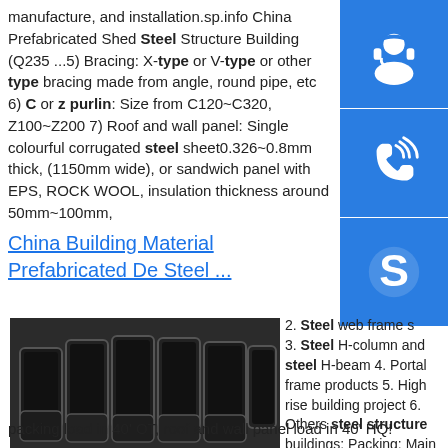manufacture, and installation.sp.info China Prefabricated Shed Steel Structure Building (Q235 ...5) Bracing: X-type or V-type or other type bracing made from angle, round pipe, etc 6) C or z purlin: Size from C120~C320, Z100~Z200 7) Roof and wall panel: Single colourful corrugated steel sheet0.326~0.8mm thick, (1150mm wide), or sandwich panel with EPS, ROCK WOOL, insulation thickness around 50mm~100mm,
[Figure (illustration): Blue sidebar with three icons: headset/support icon, phone icon, and Skype icon]
China Building Material Prefabricated De Steel ...
[Figure (photo): Photo of multiple dark steel square hollow section tubes bundled together]
2. Steel web frame s 3. Steel H-column and steel H-beam 4. Portal frame products 5. High rise building project 6. Others steel structure buildings: Packing: Main steel frame without packing load in 40' OT, roof and wall panel load in 40' HQ!